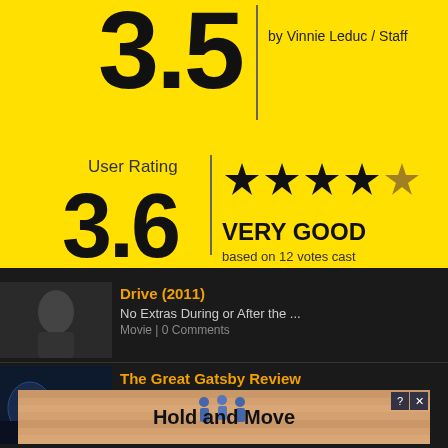3.5
by Vinnie Leduc / Staff
User Rating
3.6
[Figure (infographic): Four and a half star rating out of 5 shown as stars (4 filled black, 1 gold/partial)]
VERY GOOD
based on 12 votes cast
Drive (2011)
No Extras During or After the ...
Movie  |  0 Comments
The Great Gatsby Review
[Figure (infographic): Advertisement banner with people figures and text 'Hold and Move' with close buttons]
Hold and Move